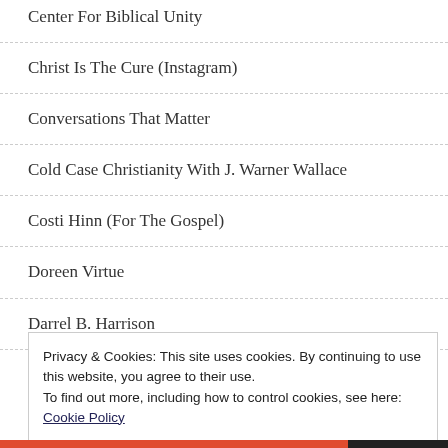Center For Biblical Unity
Christ Is The Cure (Instagram)
Conversations That Matter
Cold Case Christianity With J. Warner Wallace
Costi Hinn (For The Gospel)
Doreen Virtue
Darrel B. Harrison
Privacy & Cookies: This site uses cookies. By continuing to use this website, you agree to their use.
To find out more, including how to control cookies, see here:
Cookie Policy
Close and accept